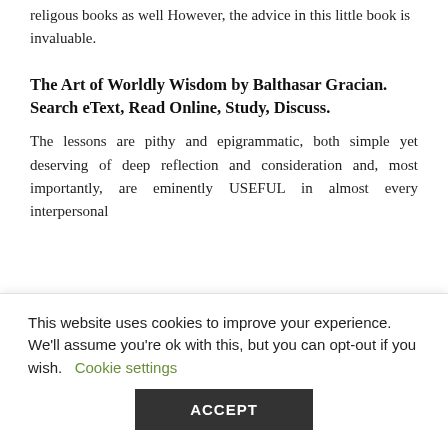religous books as well However, the advice in this little book is invaluable.
The Art of Worldly Wisdom by Balthasar Gracian. Search eText, Read Online, Study, Discuss.
The lessons are pithy and epigrammatic, both simple yet deserving of deep reflection and consideration and, most importantly, are eminently USEFUL in almost every interpersonal
This website uses cookies to improve your experience. We'll assume you're ok with this, but you can opt-out if you wish.  Cookie settings
ACCEPT